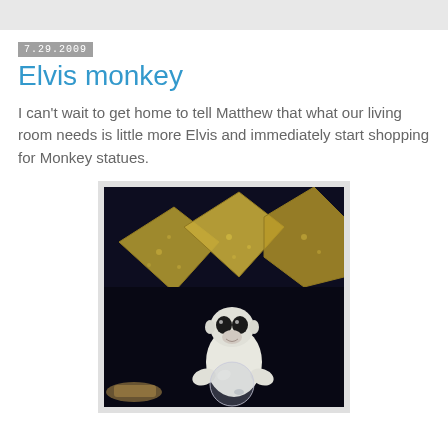7.29.2009
Elvis monkey
I can't wait to get home to tell Matthew that what our living room needs is little more Elvis and immediately start shopping for Monkey statues.
[Figure (photo): A white monkey or monkey statue holding a clear glass ball/bowl, positioned in front of a dark sofa with yellow/gold decorative pillows.]